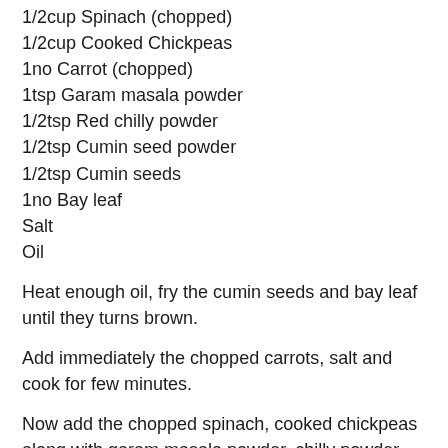1/2cup Spinach (chopped)
1/2cup Cooked Chickpeas
1no Carrot (chopped)
1tsp Garam masala powder
1/2tsp Red chilly powder
1/2tsp Cumin seed powder
1/2tsp Cumin seeds
1no Bay leaf
Salt
Oil
Heat enough oil, fry the cumin seeds and bay leaf until they turns brown.
Add immediately the chopped carrots, salt and cook for few minutes.
Now add the chopped spinach, cooked chickpeas along with garam masala powder, chilly powder and cumin powder, cook everything for few more minutes until the veggies gets well coated with the spices..
Add immediately the chopped spinach and to remove thin on the